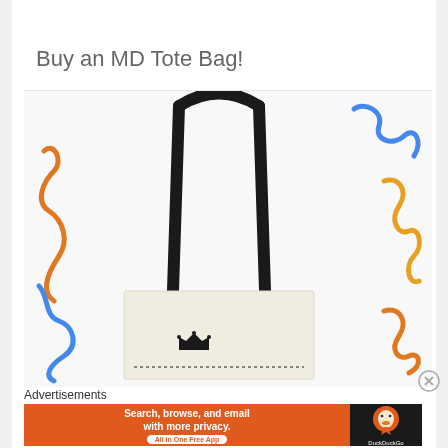Buy an MD Tote Bag!
[Figure (photo): A canvas tote bag with black handles and a crown logo printed on the front, displayed against a white background with colorful squiggly decorative lines in orange, blue, and yellow around the edges]
Advertisements
[Figure (screenshot): DuckDuckGo advertisement banner with orange background, text 'Search, browse, and email with more privacy. All in One Free App' and DuckDuckGo duck logo on dark background]